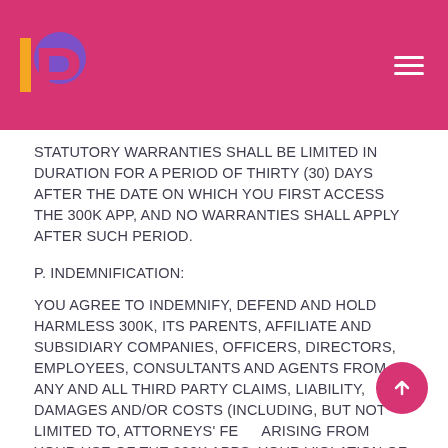300K App logo and navigation
STATUTORY WARRANTIES SHALL BE LIMITED IN DURATION FOR A PERIOD OF THIRTY (30) DAYS AFTER THE DATE ON WHICH YOU FIRST ACCESS THE 300K APP, AND NO WARRANTIES SHALL APPLY AFTER SUCH PERIOD.
P. INDEMNIFICATION:
YOU AGREE TO INDEMNIFY, DEFEND AND HOLD HARMLESS 300K, ITS PARENTS, AFFILIATE AND SUBSIDIARY COMPANIES, OFFICERS, DIRECTORS, EMPLOYEES, CONSULTANTS AND AGENTS FROM ANY AND ALL THIRD PARTY CLAIMS, LIABILITY, DAMAGES AND/OR COSTS (INCLUDING, BUT NOT LIMITED TO, ATTORNEYS' FEES ARISING FROM YOUR USE OF THE 300K APPS, YOUR VIOLATION OF THE EULA OR YOUR INFRINGEMENT, OR